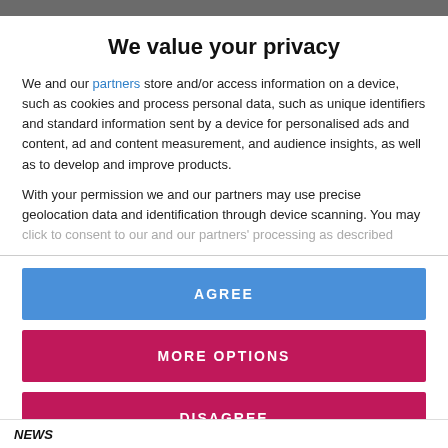We value your privacy
We and our partners store and/or access information on a device, such as cookies and process personal data, such as unique identifiers and standard information sent by a device for personalised ads and content, ad and content measurement, and audience insights, as well as to develop and improve products.
With your permission we and our partners may use precise geolocation data and identification through device scanning. You may click to consent to our and our partners' processing as described
AGREE
MORE OPTIONS
DISAGREE
NEWS